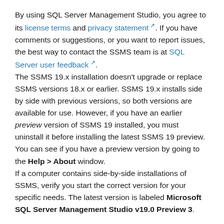By using SQL Server Management Studio, you agree to its license terms and privacy statement. If you have comments or suggestions, or you want to report issues, the best way to contact the SSMS team is at SQL Server user feedback.
The SSMS 19.x installation doesn't upgrade or replace SSMS versions 18.x or earlier. SSMS 19.x installs side by side with previous versions, so both versions are available for use. However, if you have an earlier preview version of SSMS 19 installed, you must uninstall it before installing the latest SSMS 19 preview. You can see if you have a preview version by going to the Help > About window.
If a computer contains side-by-side installations of SSMS, verify you start the correct version for your specific needs. The latest version is labeled Microsoft SQL Server Management Studio v19.0 Preview 3.